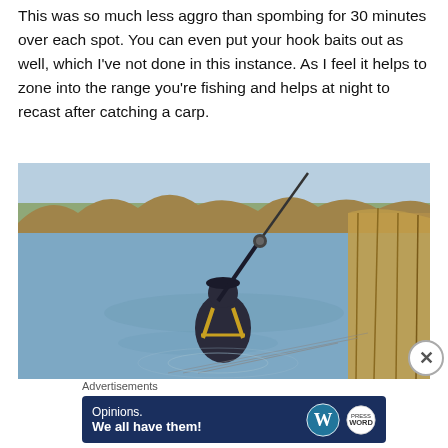This was so much less aggro than spombing for 30 minutes over each spot. You can even put your hook baits out as well, which I've not done in this instance. As I feel it helps to zone into the range you're fishing and helps at night to recast after catching a carp.
[Figure (photo): A person standing at the edge of a lake casting a fishing rod. The angler is wearing dark clothing with yellow straps (waders/vest), shot from behind. The lake is calm and blue, with bare trees visible on the far bank and reeds on the right. Fishing rods are visible in the foreground.]
Advertisements
[Figure (other): Advertisement banner with dark navy background. Text reads 'Opinions. We all have them!' with WordPress logo (W in circle) and another circular logo.]